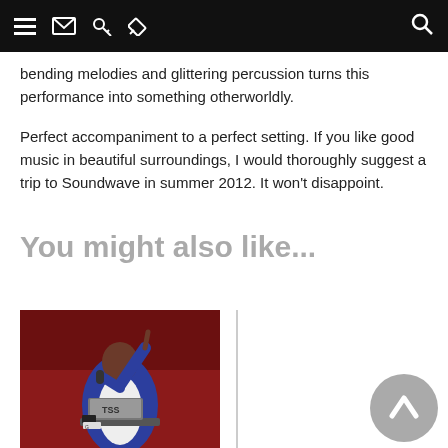[Navigation bar with menu, email, key, pencil, and search icons]
bending melodies and glittering percussion turns this performance into something otherworldly.
Perfect accompaniment to a perfect setting. If you like good music in beautiful surroundings, I would thoroughly suggest a trip to Soundwave in summer 2012. It won't disappoint.
You might also like...
[Figure (photo): A performer on stage in a blue jacket holding a microphone up, with a laptop labeled TSS visible on a table, red stage lighting in background.]